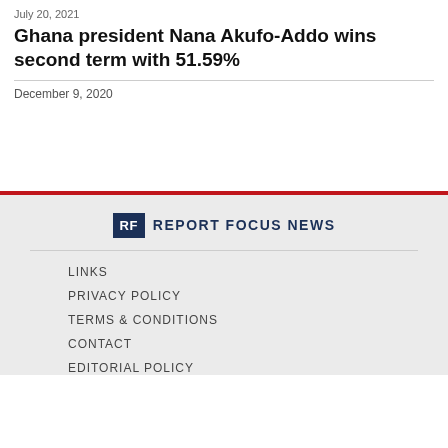July 20, 2021
Ghana president Nana Akufo-Addo wins second term with 51.59%
December 9, 2020
[Figure (logo): Report Focus News logo with RF initials box and text]
LINKS
PRIVACY POLICY
TERMS & CONDITIONS
CONTACT
EDITORIAL POLICY